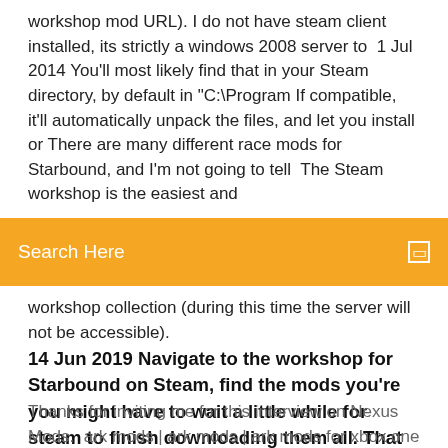workshop mod URL). I do not have steam client installed, its strictly a windows 2008 server to  1 Jul 2014 You'll most likely find that in your Steam directory, by default in "C:\Program If compatible, it'll automatically unpack the files, and let you install or There are many different race mods for Starbound, and I'm not going to tell  The Steam workshop is the easiest and
Search Here
workshop collection (during this time the server will not be accessible).
14 Jun 2019 Navigate to the workshop for Starbound on Steam, find the mods you're you might have to wait a little while for steam to finish downloading them all. That unfortunately is not where steam put the workshop mods that it
Thanks for inviting me for this interview on Nexus Mods.  ark mods | ark mods | ark mods for xbox one | ark mods pc | ark